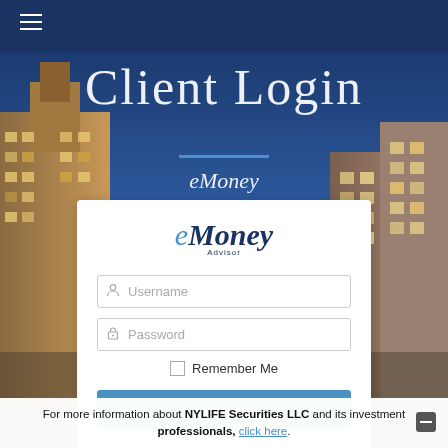[Figure (screenshot): City skyline background with dark navy top navigation bar and hamburger menu icon]
Client Login
eMoney
[Figure (logo): eMoney Advisor logo in italic serif font with teal e and dark blue Money text and Advisor subtitle]
Username
Password
Remember Me
Sign In
For more information about NYLIFE Securities LLC and its investment professionals, click here.